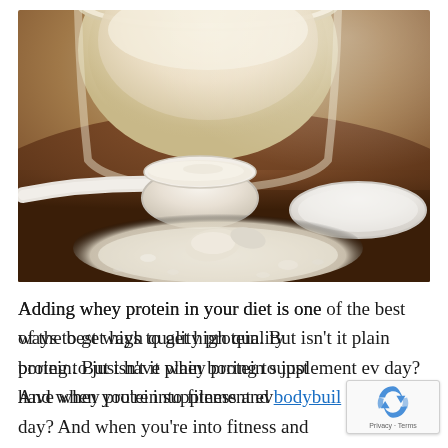[Figure (photo): Close-up photo of whey protein powder. A measuring scoop filled with white/cream protein powder sits on a dark brown surface with spilled powder around it. In the background is a large white container/tub also filled with protein powder. A white lid lies flat on the right side.]
Adding whey protein in your diet is one of the best ways to get high quality protein. But isn't it plain boring to just have whey protein supplement every day? And when you're into fitness and bodybuilding